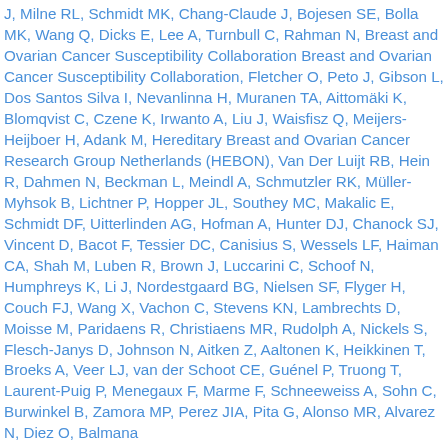J, Milne RL, Schmidt MK, Chang-Claude J, Bojesen SE, Bolla MK, Wang Q, Dicks E, Lee A, Turnbull C, Rahman N, Breast and Ovarian Cancer Susceptibility Collaboration Breast and Ovarian Cancer Susceptibility Collaboration, Fletcher O, Peto J, Gibson L, Dos Santos Silva I, Nevanlinna H, Muranen TA, Aittomäki K, Blomqvist C, Czene K, Irwanto A, Liu J, Waisfisz Q, Meijers-Heijboer H, Adank M, Hereditary Breast and Ovarian Cancer Research Group Netherlands (HEBON), Van Der Luijt RB, Hein R, Dahmen N, Beckman L, Meindl A, Schmutzler RK, Müller-Myhsok B, Lichtner P, Hopper JL, Southey MC, Makalic E, Schmidt DF, Uitterlinden AG, Hofman A, Hunter DJ, Chanock SJ, Vincent D, Bacot F, Tessier DC, Canisius S, Wessels LF, Haiman CA, Shah M, Luben R, Brown J, Luccarini C, Schoof N, Humphreys K, Li J, Nordestgaard BG, Nielsen SF, Flyger H, Couch FJ, Wang X, Vachon C, Stevens KN, Lambrechts D, Moisse M, Paridaens R, Christiaens MR, Rudolph A, Nickels S, Flesch-Janys D, Johnson N, Aitken Z, Aaltonen K, Heikkinen T, Broeks A, Veer LJ, van der Schoot CE, Guénel P, Truong T, Laurent-Puig P, Menegaux F, Marme F, Schneeweiss A, Sohn C, Burwinkel B, Zamora MP, Perez JIA, Pita G, Alonso MR, Alvarez N, Diez O, Balmana